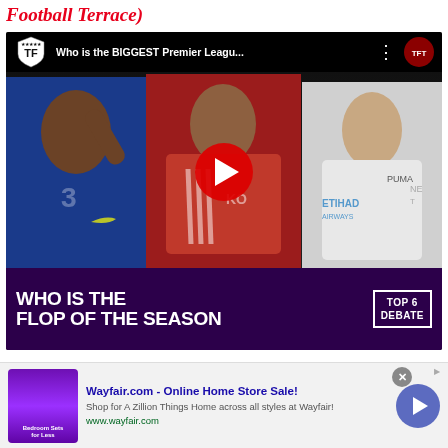Football Terrace)
[Figure (screenshot): YouTube video thumbnail showing 'Who is the BIGGEST Premier Leagu...' from The Football Terrace channel. Three Premier League players shown: a Chelsea player in blue (left), a Manchester United player in red (center), a Manchester City player in white/gray (right). Large red play button in center. Bottom text reads 'WHO IS THE FLOP OF THE SEASON' with 'TOP 6 DEBATE' badge on dark purple background.]
[Figure (screenshot): Wayfair.com advertisement banner. Shows ad image with purple background and 'Bedroom Sets for Less' text, headline 'Wayfair.com - Online Home Store Sale!', description 'Shop for A Zillion Things Home across all styles at Wayfair!', URL 'www.wayfair.com', blue arrow button, and close X button.]